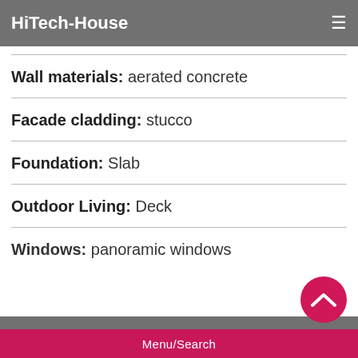HiTech-House
Wall materials: aerated concrete
Facade cladding: stucco
Foundation: Slab
Outdoor Living: Deck
Windows: panoramic windows
Menu/Search